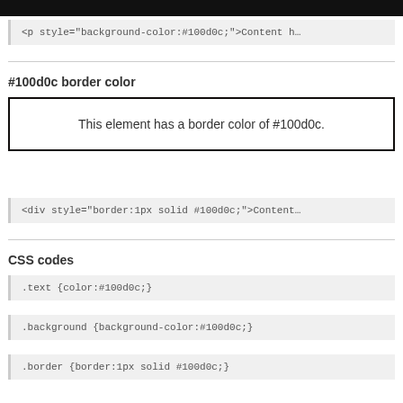[Figure (other): Black bar at top of page]
<p style="background-color:#100d0c;">Content h…
#100d0c border color
This element has a border color of #100d0c.
<div style="border:1px solid #100d0c;">Content…
CSS codes
.text {color:#100d0c;}
.background {background-color:#100d0c;}
.border {border:1px solid #100d0c;}